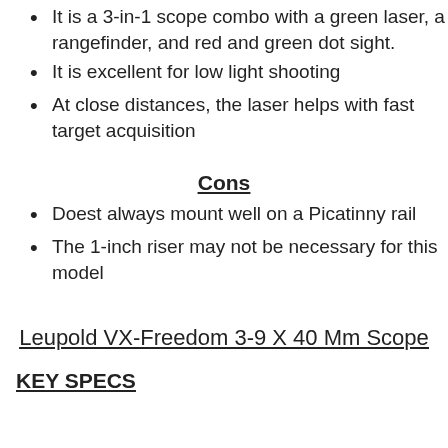It is a 3-in-1 scope combo with a green laser, a rangefinder, and red and green dot sight.
It is excellent for low light shooting
At close distances, the laser helps with fast target acquisition
Cons
Doest always mount well on a Picatinny rail
The 1-inch riser may not be necessary for this model
Leupold VX-Freedom 3-9 X 40 Mm Scope
KEY SPECS